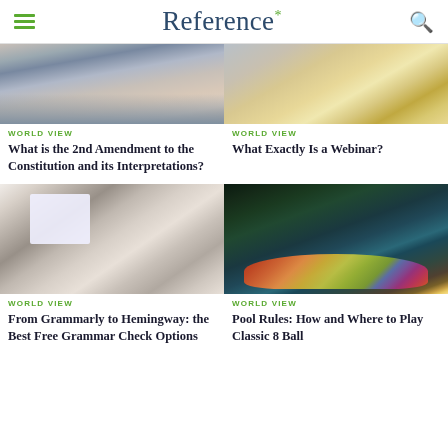Reference*
[Figure (photo): Crowd of people wearing masks outdoors]
[Figure (photo): Person at desk working with laptop and papers, yellow striped shirt]
WORLD VIEW
What is the 2nd Amendment to the Constitution and its Interpretations?
WORLD VIEW
What Exactly Is a Webinar?
[Figure (photo): Woman with curly hair working on laptop at desk in office]
[Figure (photo): Pool/billiards table with colorful balls racked, player in background aiming cue]
WORLD VIEW
From Grammarly to Hemingway: the Best Free Grammar Check Options
WORLD VIEW
Pool Rules: How and Where to Play Classic 8 Ball